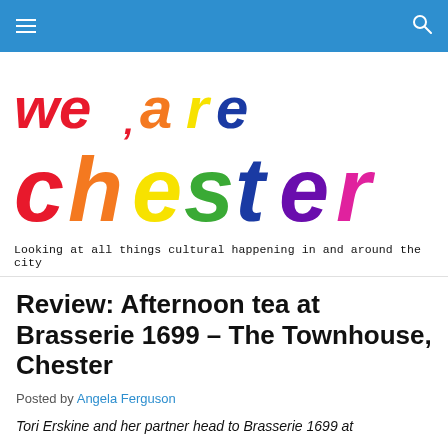We Are Chester — navigation bar
[Figure (logo): We Are Chester logo with rainbow-colored hand-drawn style lettering: 'we are chester'. 'we' is red/orange, 'are' is yellow/green/blue, 'chester' has each letter in a different color of the rainbow (red, orange, yellow, green, blue, indigo, violet/pink).]
Looking at all things cultural happening in and around the city
Review: Afternoon tea at Brasserie 1699 – The Townhouse, Chester
Posted by Angela Ferguson
Tori Erskine and her partner head to Brasserie 1699 at